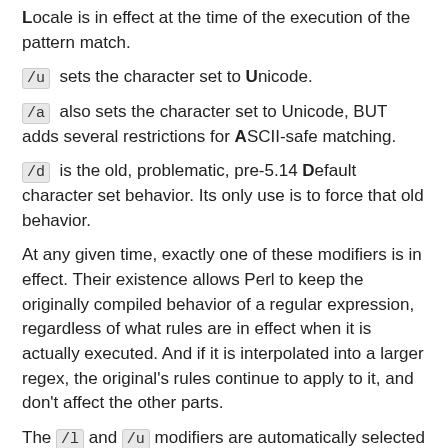Locale is in effect at the time of the execution of the pattern match.
/u sets the character set to Unicode.
/a also sets the character set to Unicode, BUT adds several restrictions for ASCII-safe matching.
/d is the old, problematic, pre-5.14 Default character set behavior. Its only use is to force that old behavior.
At any given time, exactly one of these modifiers is in effect. Their existence allows Perl to keep the originally compiled behavior of a regular expression, regardless of what rules are in effect when it is actually executed. And if it is interpolated into a larger regex, the original's rules continue to apply to it, and don't affect the other parts.
The /l and /u modifiers are automatically selected for regular expressions compiled within the scope of various pragmas, and we recommend that in general, you use those pragmas instead of specifying these modifiers explicitly. For one thing, the modifiers affect